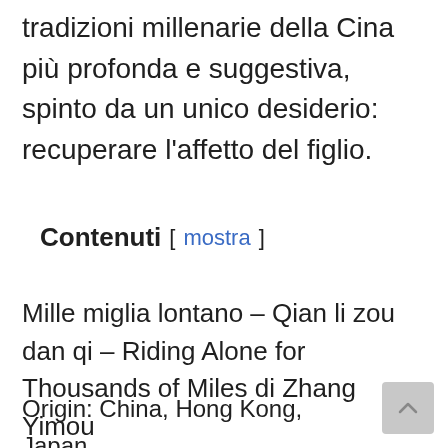tradizioni millenarie della Cina più profonda e suggestiva, spinto da un unico desiderio: recuperare l'affetto del figlio.
Contenuti [ mostra ]
Mille miglia lontano – Qian li zou dan qi – Riding Alone for Thousands of Miles di Zhang Yimou
Origin: China, Hong Kong, Japan
Year: 2005